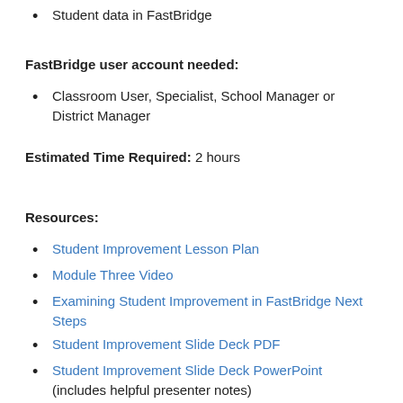Student data in FastBridge
FastBridge user account needed:
Classroom User, Specialist, School Manager or District Manager
Estimated Time Required: 2 hours
Resources:
Student Improvement Lesson Plan
Module Three Video
Examining Student Improvement in FastBridge Next Steps
Student Improvement Slide Deck PDF
Student Improvement Slide Deck PowerPoint (includes helpful presenter notes)